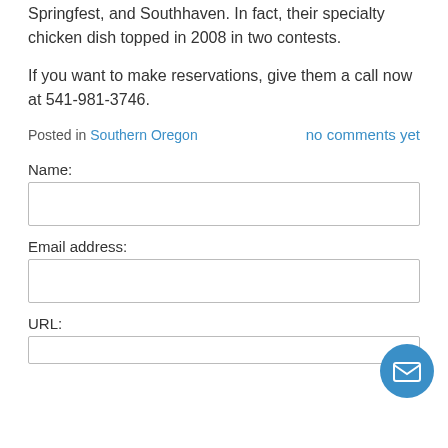Springfest, and Southhaven. In fact, their specialty chicken dish topped in 2008 in two contests.
If you want to make reservations, give them a call now at 541-981-3746.
Posted in Southern Oregon    no comments yet
Name:
Email address:
URL: